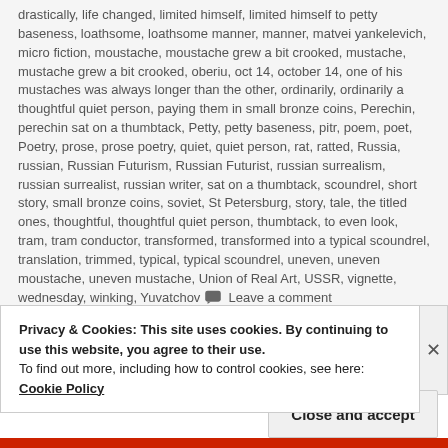drastically, life changed, limited himself, limited himself to petty baseness, loathsome, loathsome manner, manner, matvei yankelevich, micro fiction, moustache, moustache grew a bit crooked, mustache, mustache grew a bit crooked, oberiu, oct 14, october 14, one of his mustaches was always longer than the other, ordinarily, ordinarily a thoughtful quiet person, paying them in small bronze coins, Perechin, perechin sat on a thumbtack, Petty, petty baseness, pitr, poem, poet, Poetry, prose, prose poetry, quiet, quiet person, rat, ratted, Russia, russian, Russian Futurism, Russian Futurist, russian surrealism, russian surrealist, russian writer, sat on a thumbtack, scoundrel, short story, small bronze coins, soviet, St Petersburg, story, tale, the titled ones, thoughtful, thoughtful quiet person, thumbtack, to even look, tram, tram conductor, transformed, transformed into a typical scoundrel, translation, trimmed, typical, typical scoundrel, uneven, uneven moustache, uneven mustache, Union of Real Art, USSR, vignette, wednesday, winking, Yuvatchov 🗨 Leave a comment
Privacy & Cookies: This site uses cookies. By continuing to use this website, you agree to their use. To find out more, including how to control cookies, see here: Cookie Policy
Close and accept